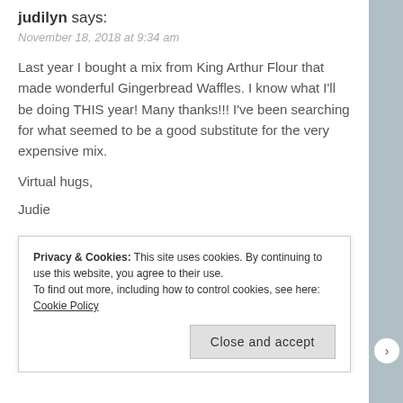judilyn says:
November 18, 2018 at 9:34 am
Last year I bought a mix from King Arthur Flour that made wonderful Gingerbread Waffles. I know what I'll be doing THIS year! Many thanks!!! I've been searching for what seemed to be a good substitute for the very expensive mix.
Virtual hugs,
Judie
★ Liked by 2 people
Reply
Privacy & Cookies: This site uses cookies. By continuing to use this website, you agree to their use.
To find out more, including how to control cookies, see here: Cookie Policy
Close and accept